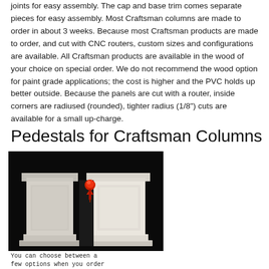joints for easy assembly. The cap and base trim comes separate pieces for easy assembly. Most Craftsman columns are made to order in about 3 weeks. Because most Craftsman products are made to order, and cut with CNC routers, custom sizes and configurations are available. All Craftsman products are available in the wood of your choice on special order. We do not recommend the wood option for paint grade applications; the cost is higher and the PVC holds up better outside. Because the panels are cut with a router, inside corners are radiused (rounded), tighter radius (1/8") cuts are available for a small up-charge.
Pedestals for Craftsman Columns
[Figure (photo): Two white craftsman-style column pedestals side by side against a black background, with a red push-pin icon in the upper area of the image.]
You can choose between a
few options when you order